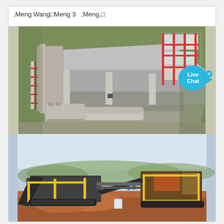,Meng Wang,Meng 3  ,Meng,□
[Figure (photo): Aerial/isometric view of an industrial facility with a large flat-roofed building, concrete structures, red and white scaffolding towers, pipes and processing equipment. A cyan 'Live Chat' speech bubble overlay is visible on the right side.]
[Figure (photo): Photo of mobile mining/crushing equipment and conveyor systems on a construction or quarry site with red earth and light blue sky in background.]